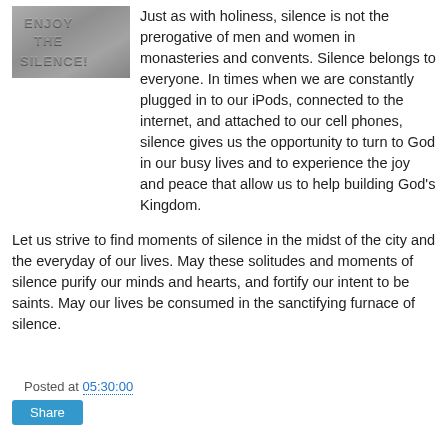[Figure (photo): Close-up photo of engraved or embossed text reading 'ENJOY THE SILENCE' on a metallic or stone surface]
Just as with holiness, silence is not the prerogative of men and women in monasteries and convents. Silence belongs to everyone. In times when we are constantly plugged in to our iPods, connected to the internet, and attached to our cell phones, silence gives us the opportunity to turn to God in our busy lives and to experience the joy and peace that allow us to help building God's Kingdom.
Let us strive to find moments of silence in the midst of the city and the everyday of our lives. May these solitudes and moments of silence purify our minds and hearts, and fortify our intent to be saints. May our lives be consumed in the sanctifying furnace of silence.
Posted at 05:30:00